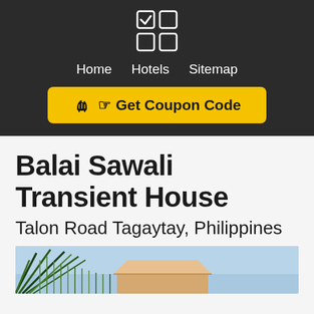[Figure (logo): App icon grid logo with checkmark square and three empty squares in 2x2 grid]
Home  Hotels  Sitemap
[Figure (other): Yellow 'Get Coupon Code' button with hand pointer icon]
Balai Sawali Transient House
Talon Road Tagaytay, Philippines
[Figure (photo): Partial view of a house exterior with tropical plants and blue sky]